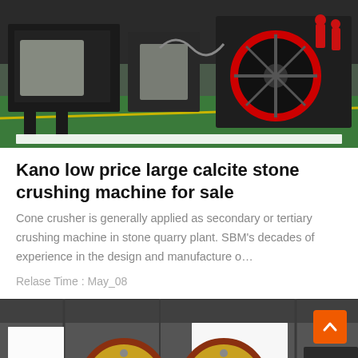[Figure (photo): Factory floor showing large industrial stone crushing machines and equipment on a green painted floor, workers visible in red.]
Kano low price large calcite stone crushing machine for sale
Cone crusher is generally applied as secondary or tertiary crushing machine in stone quarry plant. SBM's decades of experience in the design and manufacture o...
Relase Time : May_08
[Figure (photo): Industrial factory interior showing large yellow and red roller/jaw crusher machinery with bright windows in background.]